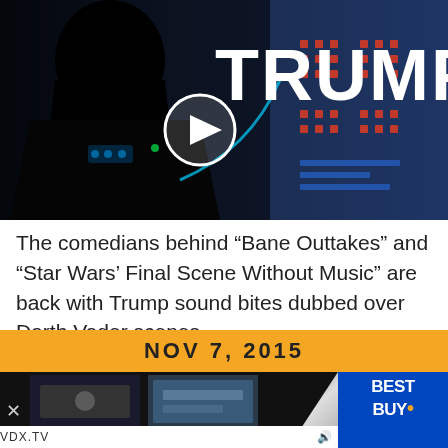[Figure (screenshot): Video thumbnail showing Darth Vader silhouette against a Star Wars control room background with the word TRUMP in large white text and a circular play button overlay]
The comedians behind “Bane Outtakes” and “Star Wars’ Final Scene Without Music” are back with Trump sound bites dubbed over Darth Vader scenes.
Read More »
NOV 7, 2015
[Figure (screenshot): Advertisement bar at bottom showing Best Buy logo, VDX.TV watermark, and two blurred video thumbnails with a close button]